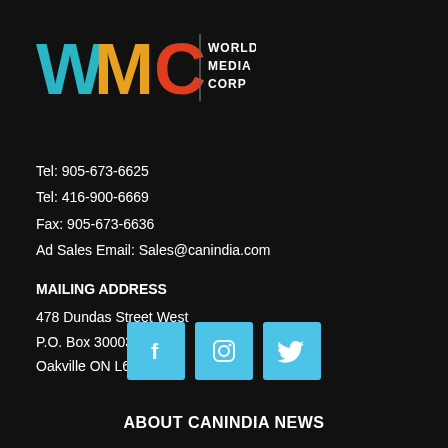[Figure (logo): WMC World Media Corp logo with colorful letters W (teal), M (yellow/orange), C (red/orange) and text 'WORLD MEDIA CORP' beside a vertical divider]
Tel: 905-673-6625
Tel: 416-900-6669
Fax: 905-673-6636
Ad Sales Email: Sales@canindia.com
MAILING ADDRESS
478 Dundas Street West
P.O. Box 30003
Oakville ON L6H 7L8
[Figure (logo): Social media icons: Facebook (f), Instagram (camera), Twitter (bird) — three light blue square buttons]
ABOUT CANINDIA NEWS